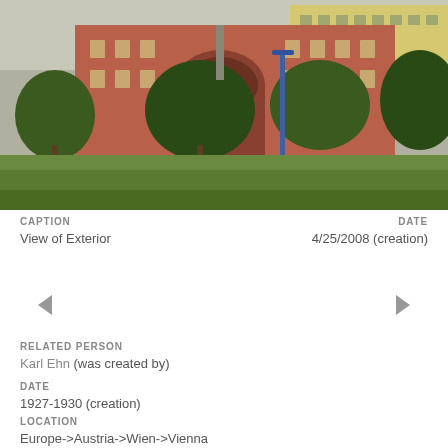[Figure (photo): Exterior view of a red/terracotta-colored residential building with an arched gateway, trees in front, on a green lawn. Yellow building visible in background. Blue street lamp.]
CAPTION
View of Exterior
DATE
4/25/2008 (creation)
RELATED PERSON
Karl Ehn (was created by)
DATE
1927-1930 (creation)
LOCATION
Europe->Austria->Wien->Vienna
DESCRIPTION
Held, known for a built between 1927 and 1930 located in...